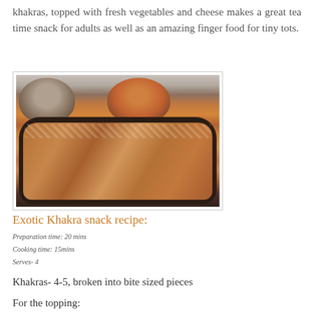khakras, topped with fresh vegetables and cheese makes a great tea time snack for adults as well as an amazing finger food for tiny tots.
[Figure (photo): Photo of exotic khakra snack: two dark bowls (one with plain khakra, one with vegetable topping) and a dark tray holding several khakra pieces topped with chopped vegetables and grated cheese.]
Exotic Khakra snack recipe:
Preparation time: 20 mins
Cooking time: 15mins
Serves- 4
Khakras- 4-5, broken into bite sized pieces
For the topping: